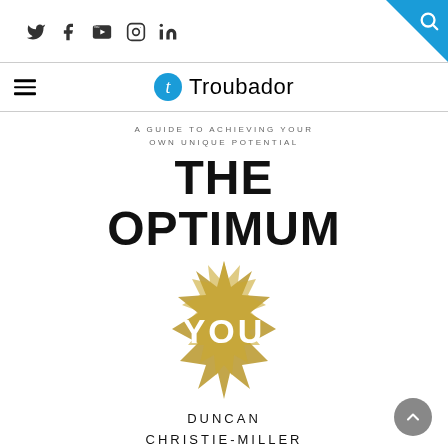Social icons: Twitter, Facebook, YouTube, Instagram, LinkedIn | Search icon
Troubador (logo and navigation)
A GUIDE TO ACHIEVING YOUR OWN UNIQUE POTENTIAL
THE OPTIMUM YOU
[Figure (illustration): Gold spiky burst/star shape with 'YOU' in white bold text centered on it]
DUNCAN CHRISTIE-MILLER